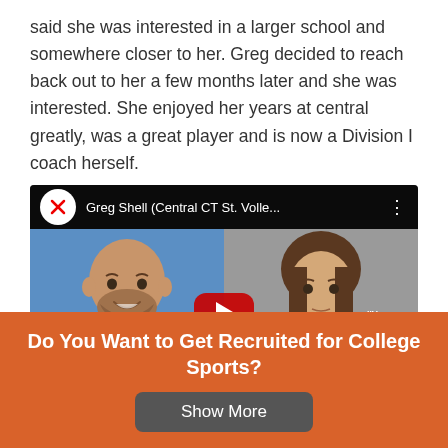said she was interested in a larger school and somewhere closer to her. Greg decided to reach back out to her a few months later and she was interested. She enjoyed her years at central greatly, was a great player and is now a Division I coach herself.
[Figure (screenshot): YouTube video thumbnail showing Greg Shell (Central CT St. Volle...) with two people: a man in a blue jacket on the left and a woman on the right, with a red YouTube play button overlay.]
Do You Want to Get Recruited for College Sports?
Show More